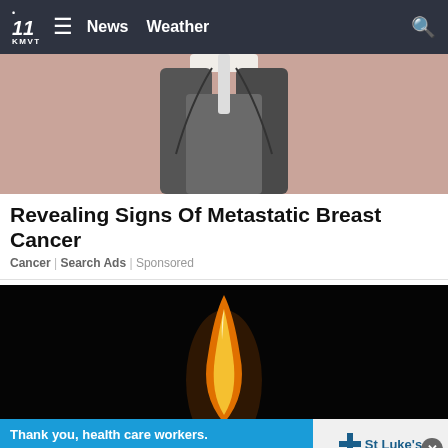.11 KMVT ≡ News Weather 🔍
[Figure (illustration): Partial illustration of a person (cartoon/comic style), cropped showing lower torso wearing gray pants, pink/peach background]
Revealing Signs Of Metastatic Breast Cancer
Cancer | Search Ads | Sponsored
[Figure (photo): Close-up photograph of a lit candle flame against a dark/black background. The flame is bright yellow-orange. A banner overlay reads: Thank you, health care workers. Every day, you make a difference. — St Luke's (with cross logo). A red bar at bottom left reads MOST.]